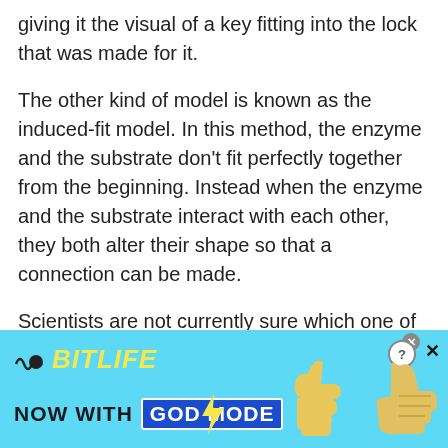giving it the visual of a key fitting into the lock that was made for it.
The other kind of model is known as the induced-fit model. In this method, the enzyme and the substrate don't fit perfectly together from the beginning. Instead when the enzyme and the substrate interact with each other, they both alter their shape so that a connection can be made.
Scientists are not currently sure which one of these models is the true relationship between enzymes and substrates. Once the two pair together though, the
[Figure (other): Advertisement banner for BitLife game app. Cyan/light blue background. Shows BitLife logo with black circle and yellow italic text. 'NOW WITH GOD MODE' text with GOD MODE in blue box. Yellow cartoon thumb and pointing hand graphics on right side. Close and question buttons in top right.]